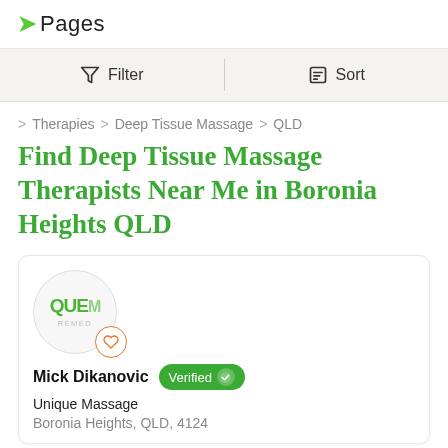Pages
Filter   Sort
Therapies > Deep Tissue Massage > QLD
Find Deep Tissue Massage Therapists Near Me in Boronia Heights QLD
Mick Dikanovic  Verified
Unique Massage
Boronia Heights, QLD, 4124